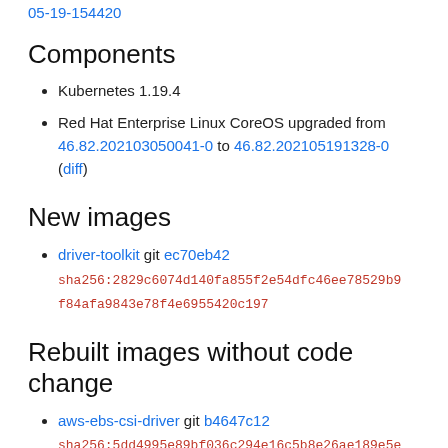05-19-154420
Components
Kubernetes 1.19.4
Red Hat Enterprise Linux CoreOS upgraded from 46.82.202103050041-0 to 46.82.202105191328-0 (diff)
New images
driver-toolkit git ec70eb42 sha256:2829c6074d140fa855f2e54dfc46ee78529b9f84afa9843e78f4e6955420c197
Rebuilt images without code change
aws-ebs-csi-driver git b4647c12 sha256:5dd4995e89bf036c294e16c5b8e26ae189e5e